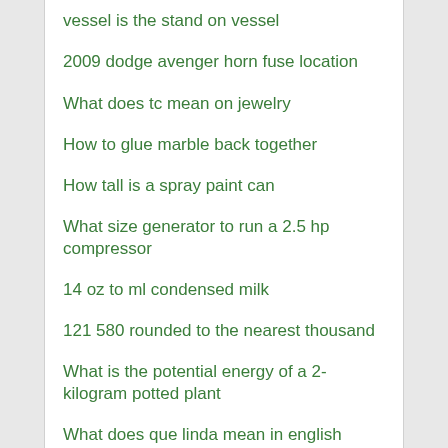vessel is the stand on vessel
2009 dodge avenger horn fuse location
What does tc mean on jewelry
How to glue marble back together
How tall is a spray paint can
What size generator to run a 2.5 hp compressor
14 oz to ml condensed milk
121 580 rounded to the nearest thousand
What is the potential energy of a 2-kilogram potted plant
What does que linda mean in english